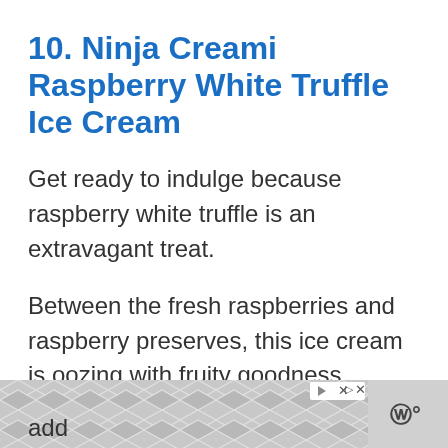10. Ninja Creami Raspberry White Truffle Ice Cream
Get ready to indulge because raspberry white truffle is an extravagant treat.
Between the fresh raspberries and raspberry preserves, this ice cream is oozing with fruity goodness.
The whole is made even more decadent by
add
[Figure (other): Advertisement banner with geometric diamond/hexagon pattern in gray tones with ad badge (triangle and X icons) in top right]